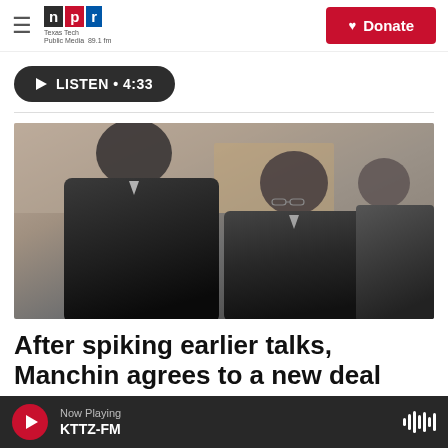NPR — Texas Tech Public Media 89.1 fm | Donate
[Figure (other): Listen button: play icon followed by LISTEN • 4:33 on dark rounded pill]
[Figure (photo): Two men in dark suits leaning toward each other in conversation, with a third older man in background. Indoor setting with ornate decor.]
After spiking earlier talks, Manchin agrees to a new deal
Now Playing KTTZ-FM